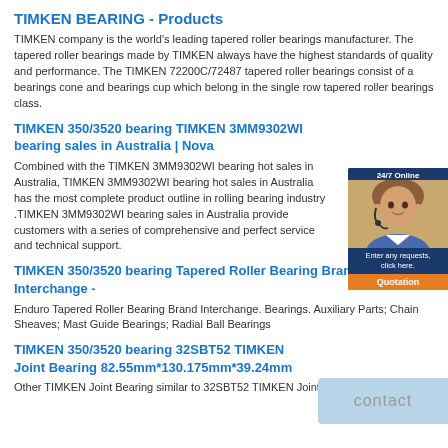TIMKEN BEARING - Products
TIMKEN company is the world's leading tapered roller bearings manufacturer. The tapered roller bearings made by TIMKEN always have the highest standards of quality and performance. The TIMKEN 72200C/72487 tapered roller bearings consist of a bearings cone and bearings cup which belong in the single row tapered roller bearings class.
TIMKEN 350/3520 bearing TIMKEN 3MM9302WI bearing sales in Australia | Nova
Combined with the TIMKEN 3MM9302WI bearing hot sales in Australia, TIMKEN 3MM9302WI bearing hot sales in Australia has the most complete product outline in rolling bearing industry .TIMKEN 3MM9302WI bearing sales in Australia provide customers with a series of comprehensive and perfect service and technical support.
TIMKEN 350/3520 bearing Tapered Roller Bearing Brand Interchange -
Enduro Tapered Roller Bearing Brand Interchange. Bearings. Auxiliary Parts; Chain Sheaves; Mast Guide Bearings; Radial Ball Bearings
TIMKEN 350/3520 bearing 32SBT52 TIMKEN Joint Bearing 82.55mm*130.175mm*39.24mm
Other TIMKEN Joint Bearing similar to 32SBT52 TIMKEN Joint Bearing